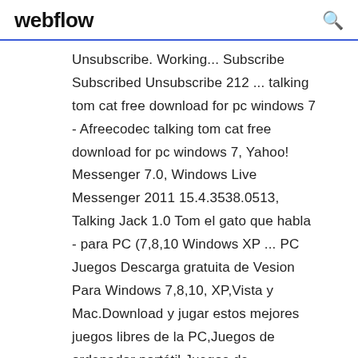webflow
Unsubscribe. Working... Subscribe Subscribed Unsubscribe 212 ... talking tom cat free download for pc windows 7 - Afreecodec talking tom cat free download for pc windows 7, Yahoo! Messenger 7.0, Windows Live Messenger 2011 15.4.3538.0513, Talking Jack 1.0 Tom el gato que habla - para PC (7,8,10 Windows XP ... PC Juegos Descarga gratuita de Vesion Para Windows 7,8,10, XP,Vista y Mac.Download y jugar estos mejores juegos libres de la PC,Juegos de ordenador portátil,Juegos de Escritorio,Juegos Tablet,Mac Games.Also puede descargar el software libre y aplicaciones para PC (7,8,10 Windows XP,Vista) y Mac. Descargar My Talking Tom para Windows -